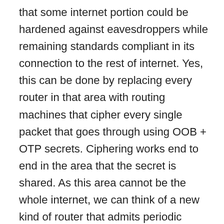that some internet portion could be hardened against eavesdroppers while remaining standards compliant in its connection to the rest of internet. Yes, this can be done by replacing every router in that area with routing machines that cipher every single packet that goes through using OOB + OTP secrets. Ciphering works end to end in the area that the secret is shared. As this area cannot be the whole internet, we can think of a new kind of router that admits periodic replacement of a HW storage module containing OOB secrets. All routers in the area will receive the module let's say once a week or once a month. Modules will be written centrally at network owners premises. Traffic that comes into that ‘spot’ in internet will be ciphered via OOB+OTP so only routers in that ‘spot’ will understand the low level packets. Egressing traffic will be just ‘normal’ traffic as low level packets will be deciphered